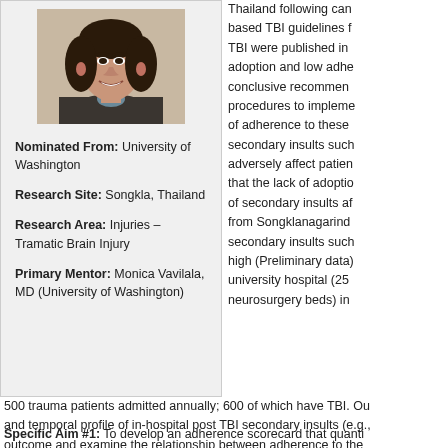[Figure (photo): Headshot photo of a young woman with long dark hair, smiling, wearing a dark jacket]
Nominated From: University of Washington
Research Site: Songkla, Thailand
Research Area: Injuries – Tramatic Brain Injury
Primary Mentor: Monica Vavilala, MD (University of Washington)
Thailand following can... based TBI guidelines f... TBI were published in ... adoption and low adhe... conclusive recommen... procedures to impleme... of adherence to these ... secondary insults such... adversely affect patien... that the lack of adoptio... of secondary insults af... from Songklanagarind ... secondary insults such... high (Preliminary data)... university hospital (25 ... neurosurgery beds) in ...
500 trauma patients admitted annually; 600 of which have TBI. Ou... and temporal profile of in-hospital post TBI secondary insults (e.g.,... outcome and examine the relationship between adherence to the ... outcomes. The guiding hypothesis is that adherence predicts outco...
Specific Aim #1: To develop an adherence scorecard that quanti...